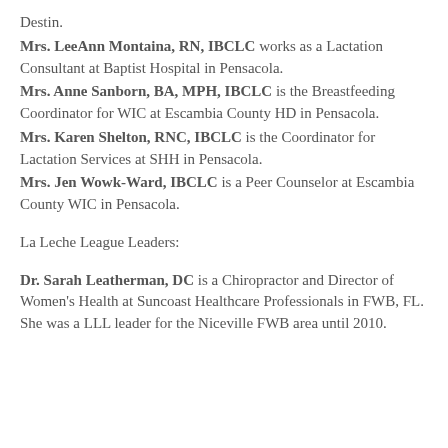Destin.
Mrs. LeeAnn Montaina, RN, IBCLC works as a Lactation Consultant at Baptist Hospital in Pensacola.
Mrs. Anne Sanborn, BA, MPH, IBCLC is the Breastfeeding Coordinator for WIC at Escambia County HD in Pensacola.
Mrs. Karen Shelton, RNC, IBCLC is the Coordinator for Lactation Services at SHH in Pensacola.
Mrs. Jen Wowk-Ward, IBCLC is a Peer Counselor at Escambia County WIC in Pensacola.
La Leche League Leaders:
Dr. Sarah Leatherman, DC is a Chiropractor and Director of Women's Health at Suncoast Healthcare Professionals in FWB, FL. She was a LLL leader for the Niceville FWB area until 2010.